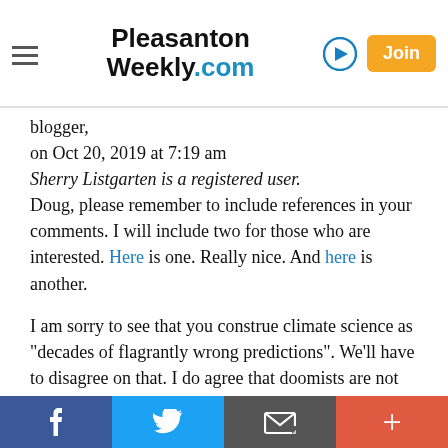Pleasanton Weekly.com
blogger,
on Oct 20, 2019 at 7:19 am
Sherry Listgarten is a registered user.
Doug, please remember to include references in your comments. I will include two for those who are interested. Here is one. Really nice. And here is another.

I am sorry to see that you construe climate science as "decades of flagrantly wrong predictions". We'll have to disagree on that. I do agree that doomists are not deniers. Not sure where you get the idea that Michael Mann makes that assertion, though.

It is absolutely true that some of the mechanisms being suggested to address climate change can smack of big government. For example, "fly less", I think it's why
f  [twitter]  [email]  +